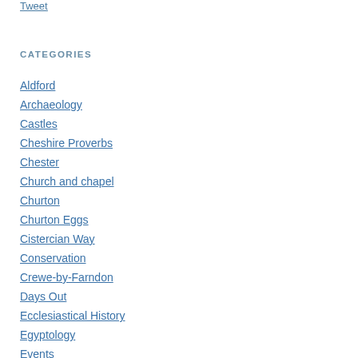Tweet
CATEGORIES
Aldford
Archaeology
Castles
Cheshire Proverbs
Chester
Church and chapel
Churton
Churton Eggs
Cistercian Way
Conservation
Crewe-by-Farndon
Days Out
Ecclesiastical History
Egyptology
Events